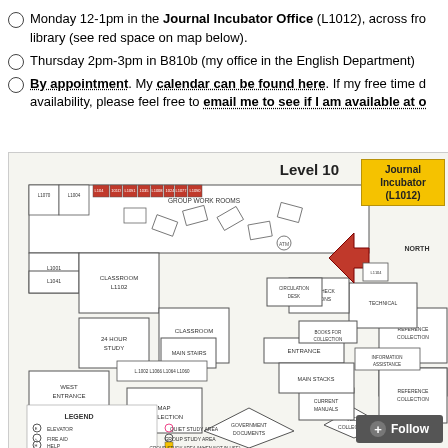Monday 12-1pm in the Journal Incubator Office (L1012), across from the library (see red space on map below).
Thursday 2pm-3pm in B810b (my office in the English Department)
By appointment. My calendar can be found here. If my free time does not reflect my availability, please feel free to email me to see if I am available at other times.
[Figure (engineering-diagram): Floor plan map of Level 10 of a library building, showing rooms including Group Work Rooms, Classroom, 24 Hour Study, Main Stairs, West Entrance, Map Collection, Government Documents, Vedia Collection, Reference Collection, and other areas. A yellow highlighted box marks the Journal Incubator (L1012) in the upper right area. A red arrow/shape marks a specific location. The map includes a legend showing symbols for Elevator, Fire Aid, Help, Quiet Study Area, Group Study Area, and Group Study Area (when not in use). NORTH indicator is shown.]